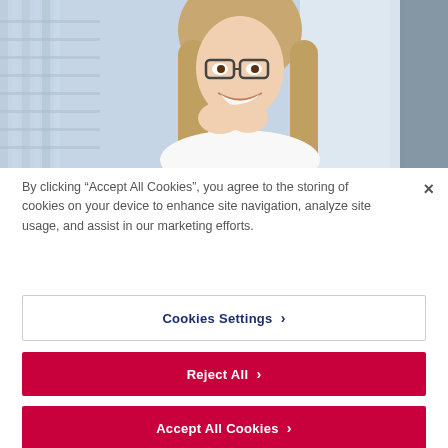[Figure (photo): A smiling woman with glasses and long hair, wearing a white shirt, in an office environment with large windows in the background. She holds her hands together near her face with an expression of delight.]
By clicking “Accept All Cookies”, you agree to the storing of cookies on your device to enhance site navigation, analyze site usage, and assist in our marketing efforts.
Cookies Settings ›
Reject All ›
Accept All Cookies ›